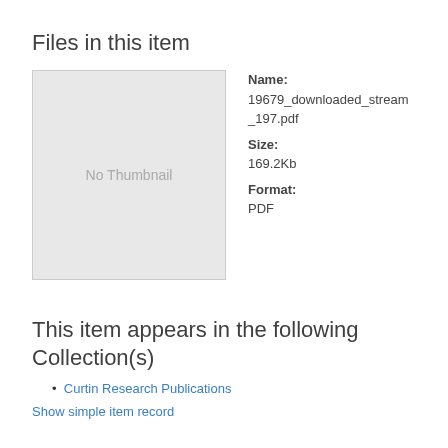Files in this item
[Figure (other): No Thumbnail placeholder image box with light gray background]
Name:
19679_downloaded_stream_197.pdf
Size:
169.2Kb
Format:
PDF
This item appears in the following Collection(s)
Curtin Research Publications
Show simple item record